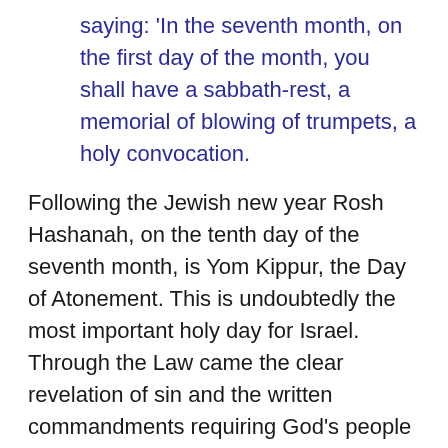saying: 'In the seventh month, on the first day of the month, you shall have a sabbath-rest, a memorial of blowing of trumpets, a holy convocation.
Following the Jewish new year Rosh Hashanah, on the tenth day of the seventh month, is Yom Kippur, the Day of Atonement. This is undoubtedly the most important holy day for Israel. Through the Law came the clear revelation of sin and the written commandments requiring God's people be holy, it therefore became necessary that an atonement, a blood sacrifice, be made for their sins. Without the shedding of blood there was no entering into the Holy of Holies, but not only atonement, but neither could there be any unconfessed or unrepentant sin in the heart of the priest or there would be certain death.
Once again it was after a season of hardship and labor